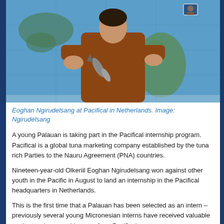[Figure (photo): A young Palauan man (Eoghan Ngirudelsang) standing in front of a large world map, holding a model rocket/tuna fish, wearing a brown sweater.]
Eoghan Ngirudelsang at Pacifical in Netherlands. Image: Ngirudelsang
A young Palauan is taking part in the Pacifical internship program. Pacifical is a global tuna marketing company established by the tuna rich Parties to the Nauru Agreement (PNA) countries.
Nineteen-year-old Olkeriil Eoghan Ngirudelsang won against other youth in the Pacific in August to land an internship in the Pacifical headquarters in Netherlands.
This is the first time that a Palauan has been selected as an intern – previously several young Micronesian interns have received valuable work experience and lessons from Pacifical.